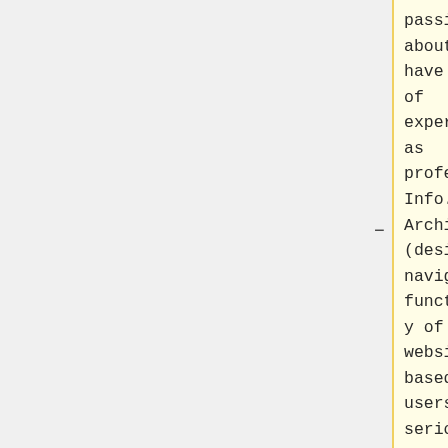passionate about this & have years of experience as professional Info. Architect. (designs navigation & functionality of websites based on users).  Did serious research on understanding what users want.